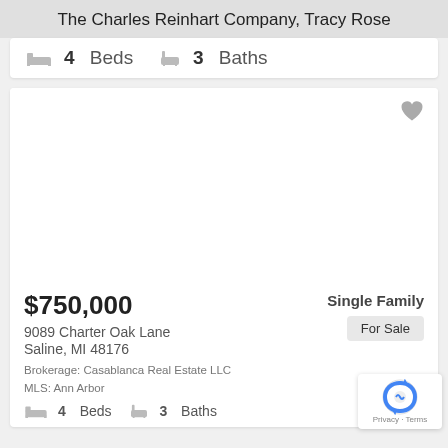The Charles Reinhart Company, Tracy Rose
4 Beds  3 Baths
[Figure (photo): Property listing photo placeholder (white/blank image area) with a heart icon in the top-right corner]
$750,000
Single Family
9089 Charter Oak Lane
For Sale
Saline, MI 48176
Brokerage: Casablanca Real Estate LLC
MLS: Ann Arbor
4 Beds  3 Baths